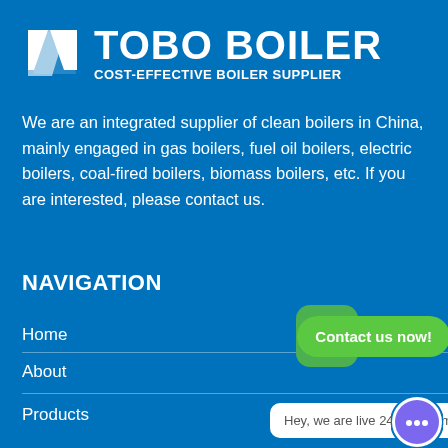[Figure (logo): TOBO BOILER logo with parallelogram icon and text 'TOBO BOILER / COST-EFFECTIVE BOILER SUPPLIER']
We are an integrated supplier of clean boilers in China, mainly engaged in gas boilers, fuel oil boilers, electric boilers, coal-fired boilers, biomass boilers, etc. If you are interested, please contact us.
NAVIGATION
Home
About
Products
[Figure (other): WhatsApp contact button with green icon and 'Contact us now!' label]
Hey, we are live 24/7. How may I help you?